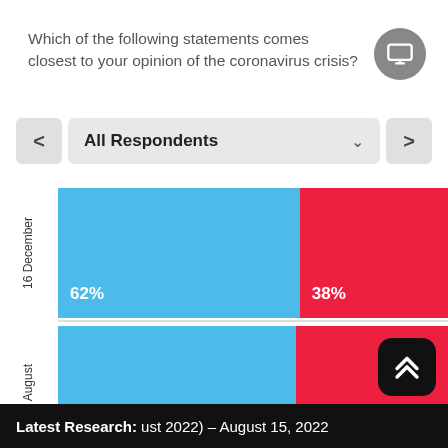Which of the following statements comes closest to your opinion of the coronavirus crisis?
[Figure (stacked-bar-chart): All Respondents]
Latest Research: ust 2022) - August 15, 2022